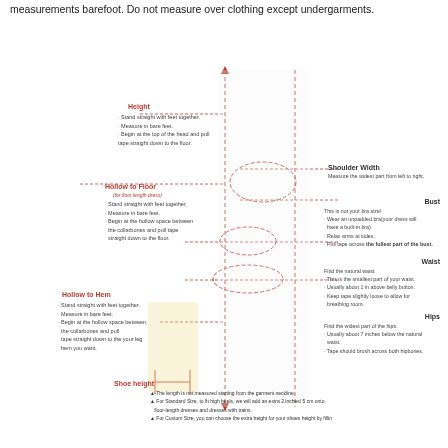measurements barefoot. Do not measure over clothing except undergarments.
[Figure (illustration): Dress sizing measurement guide diagram showing a woman in a white floor-length gown and a smaller figure in a yellow knee-length dress. Red dashed lines and arrows indicate measurement points: Height, Hollow to Floor, Hollow to Hem, Shoe height, Shoulder Width, Bust, Waist, and Hips. Each measurement includes bullet point instructions.]
The length is not measured starting from the garment neckline.
For Standard Size, to fit high heels, we will add an extra 2 inches/ 5 cm onto floor-length dresses and dresses with trains.
For Custom Size, you can choose the extra height for your shoes height by fillin